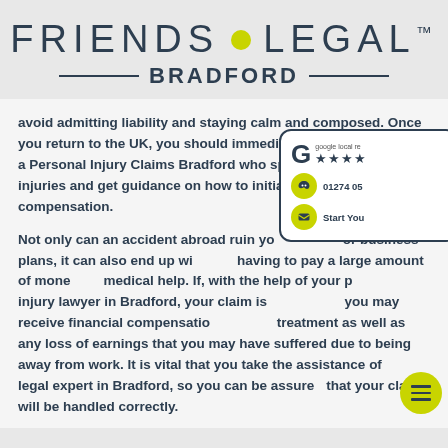[Figure (logo): Friends Legal Bradford logo with yellow dot and TM symbol]
avoid admitting liability and staying calm and composed. Once you return to the UK, you should immediately get in touch with a Personal Injury Claims Bradford who specializes in personal injuries and get guidance on how to initiate making a claim for compensation.
Not only can an accident abroad ruin your holiday or business plans, it can also end up with you having to pay a large amount of money for medical help. If, with the help of your personal injury lawyer in Bradford, your claim is successful you may receive financial compensation for your treatment as well as any loss of earnings that you may have suffered due to being away from work. It is vital that you take the assistance of a legal expert in Bradford, so you can be assured that your claim will be handled correctly.
[Figure (infographic): Google local review stars widget showing 4 stars, phone number 01274 05..., Start Your... email icon, and hamburger menu button]